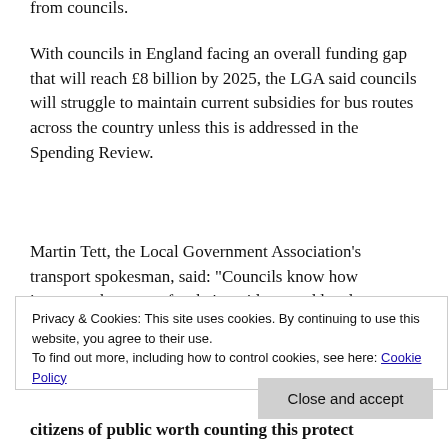from councils.
With councils in England facing an overall funding gap that will reach £8 billion by 2025, the LGA said councils will struggle to maintain current subsidies for bus routes across the country unless this is addressed in the Spending Review.
Martin Tett, the Local Government Association's transport spokesman, said: "Councils know how important buses are for their residents and local economies and
Privacy & Cookies: This site uses cookies. By continuing to use this website, you agree to their use. To find out more, including how to control cookies, see here: Cookie Policy
Close and accept
citizens of public worth counting this protect